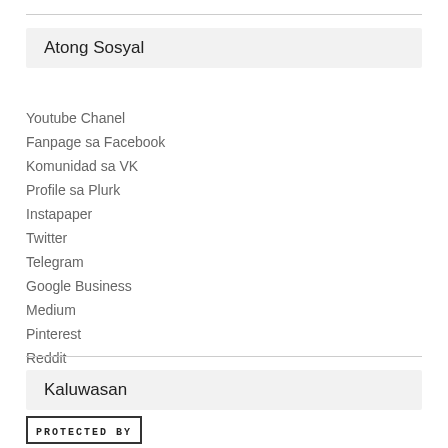Atong Sosyal
Youtube Chanel
Fanpage sa Facebook
Komunidad sa VK
Profile sa Plurk
Instapaper
Twitter
Telegram
Google Business
Medium
Pinterest
Reddit
Feed Alternative
Kaluwasan
[Figure (other): Protected By badge — a small rectangular badge with border and the text 'PROTECTED BY' in monospace uppercase letters]